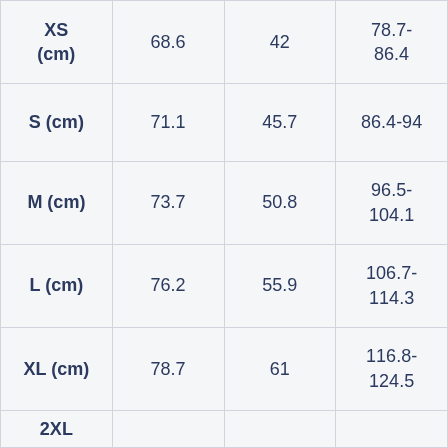| XS (cm) | 68.6 | 42 | 78.7-86.4 |
| S (cm) | 71.1 | 45.7 | 86.4-94 |
| M (cm) | 73.7 | 50.8 | 96.5-104.1 |
| L (cm) | 76.2 | 55.9 | 106.7-114.3 |
| XL (cm) | 78.7 | 61 | 116.8-124.5 |
| 2XL |  |  | 127- |